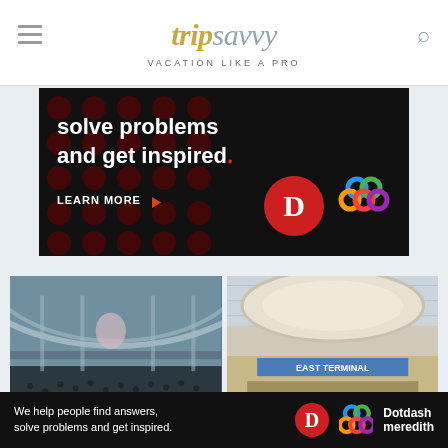tripsavvy — VACATION LIKE A PRO
[Figure (screenshot): Advertisement banner with black background, dark red dot pattern, text 'solve problems and get inspired.' with LEARN MORE button, D logo in red circle and colorful knot logo]
[Figure (photo): Interior of a busy airport terminal with high ceiling and crowds of people]
[Figure (photo): Interior of Austin airport terminal with East Terminal sign and yellow AUSTIN badge]
[Figure (screenshot): Bottom advertisement bar: 'We help people find answers, solve problems and get inspired.' with D logo and Dotdash Meredith branding]